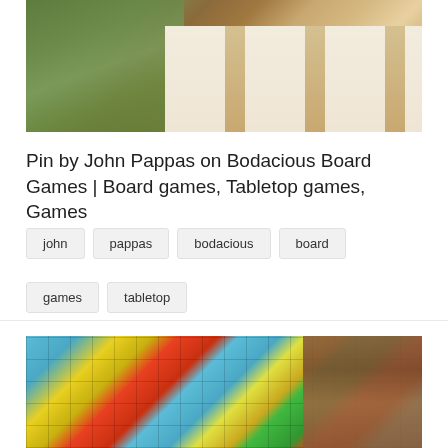[Figure (photo): Photo of a board game spread on a table showing a map-based game board with yellow dice and multiple cards with scroll-like designs fanned out]
Pin by John Pappas on Bodacious Board Games | Board games, Tabletop games, Games
john
pappas
bodacious
board
games
tabletop
[Figure (photo): Photo of a Snakes and Ladders board game on a wooden table with colorful squares, snakes, and ladders illustrated on the board, with a brown bag partially visible on the right]